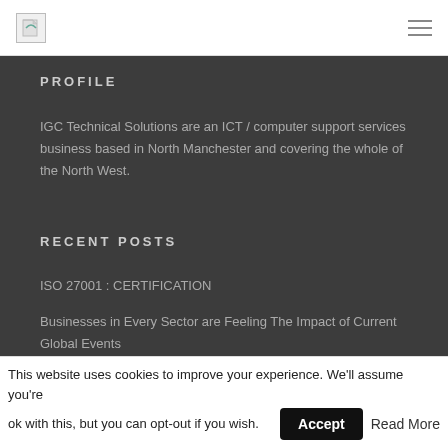[Logo] [Hamburger menu]
PROFILE
IGC Technical Solutions are an ICT / computer support services business based in North Manchester and covering the whole of the North West.
RECENT POSTS
ISO 27001 : CERTIFICATION
Businesses in Every Sector are Feeling The Impact of Current Global Events
Tech Tip – Managing Background Apps
This website uses cookies to improve your experience. We'll assume you're ok with this, but you can opt-out if you wish.
Accept
Read More